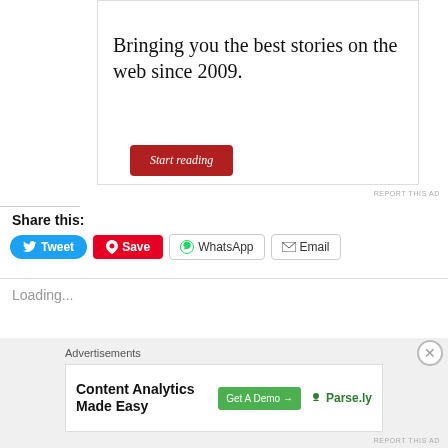[Figure (screenshot): Advertisement box with red circle logo, tagline 'Bringing you the best stories on the web since 2009.' and a dark red 'Start reading' button]
REPORT THIS AD
Share this:
Tweet  Save  WhatsApp  Email
Loading...
Advertisements
[Figure (screenshot): Content Analytics Made Easy advertisement banner with Get A Demo button and Parse.ly logo]